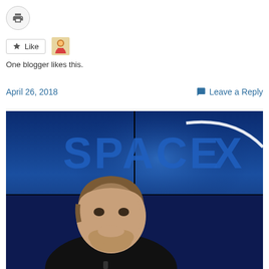[Figure (other): Print button icon - circular gray button with printer icon]
[Figure (other): Like button with star icon and blogger avatar thumbnail]
One blogger likes this.
April 26, 2018
Leave a Reply
[Figure (photo): Elon Musk sitting in front of a SpaceX logo backdrop on a video wall, hands clasped under chin, wearing black shirt, looking thoughtful]